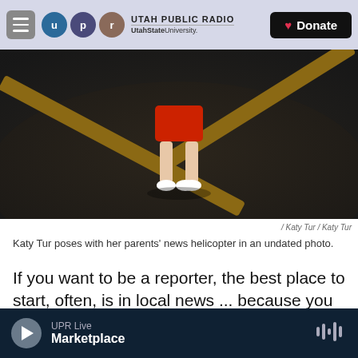UTAH PUBLIC RADIO | UtahState University. | Donate
[Figure (photo): A child in a red dress standing on dark pavement near wooden beams or helicopter skids, legs and white shoes visible, undated photo.]
/ Katy Tur / Katy Tur
Katy Tur poses with her parents' news helicopter in an undated photo.
If you want to be a reporter, the best place to start, often, is in local news ... because you learn the ins and outs of a community. You learn how to develop sources even when it can be a little bit difficult. You learn what the people care about. You learn how to
UPR Live | Marketplace